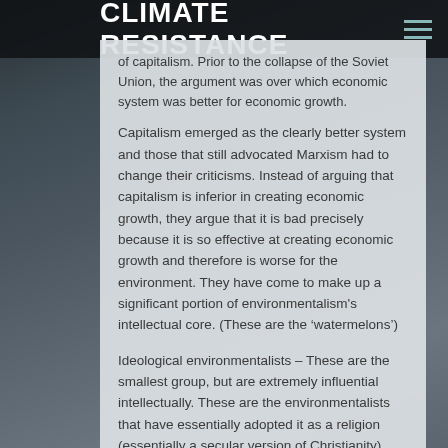CLIMATE RESISTANCE
of capitalism. Prior to the collapse of the Soviet Union, the argument was over which economic system was better for economic growth.
Capitalism emerged as the clearly better system and those that still advocated Marxism had to change their criticisms. Instead of arguing that capitalism is inferior in creating economic growth, they argue that it is bad precisely because it is so effective at creating economic growth and therefore is worse for the environment. They have come to make up a significant portion of environmentalism's intellectual core. (These are the ‘watermelons’)
Ideological environmentalists – These are the smallest group, but are extremely influential intellectually. These are the environmentalists that have essentially adopted it as a religion (essentially a secular version of Christianity)